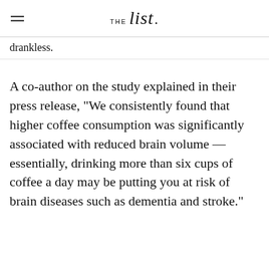THE list
drankless.
A co-author on the study explained in their press release, "We consistently found that higher coffee consumption was significantly associated with reduced brain volume — essentially, drinking more than six cups of coffee a day may be putting you at risk of brain diseases such as dementia and stroke."